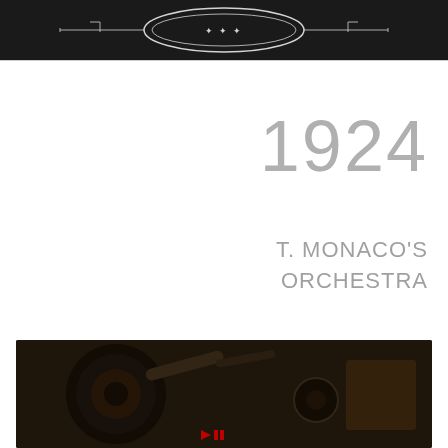[Figure (illustration): Dark banner/header image with decorative emblem or logo, white ornamental design on dark background]
1924
T. MONACO'S ORCHESTRA
[Figure (screenshot): Video thumbnail showing vintage music player/phonograph with text overlay: 'WHY DID I KISS THAT GIRL by...' and 'Cliff's Vintage Music Shoppe' logo badge]